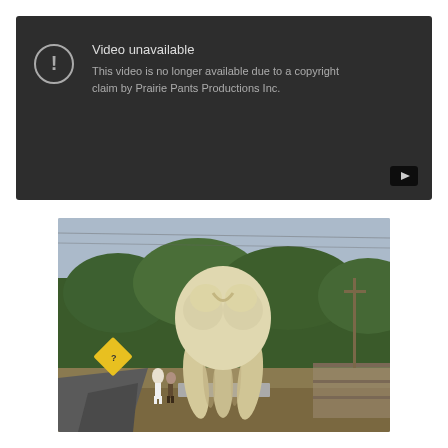[Figure (screenshot): YouTube 'Video unavailable' error screen with dark background. Shows a circle with exclamation mark icon, title 'Video unavailable', and message 'This video is no longer available due to a copyright claim by Prairie Pants Productions Inc.' A YouTube play button icon appears in the bottom right corner.]
[Figure (photo): Outdoor photograph of a giant molar tooth sculpture/structure standing in a roadside area. Two people stand near its base for scale. Trees visible in background, a yellow diamond road sign on the left. The tooth is cream/ivory colored and very large, mounted on a concrete base.]